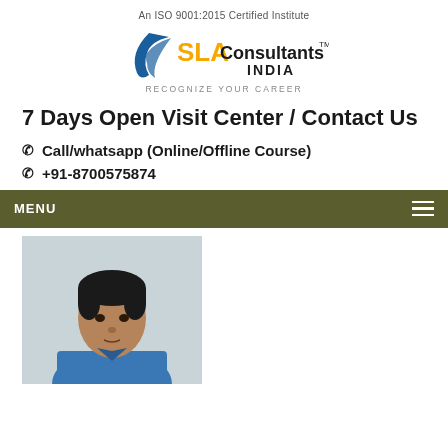[Figure (logo): SLA Consultants India logo with tagline 'An ISO 9001:2015 Certified Institute' and 'RECOGNIZE YOUR CAREER']
7 Days Open Visit Center / Contact Us
📞 Call/whatsapp (Online/Offline Course)
📞 +91-8700575874
MENU
[Figure (photo): Portrait photo of a young man in a blue shirt]